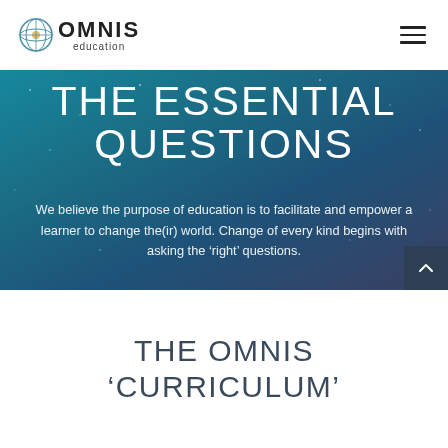OMNIS education
THE ESSENTIAL QUESTIONS
We believe the purpose of education is to facilitate and empower a learner to change the(ir) world. Change of every kind begins with asking the ‘right’ questions.
THE OMNIS ‘CURRICULUM’